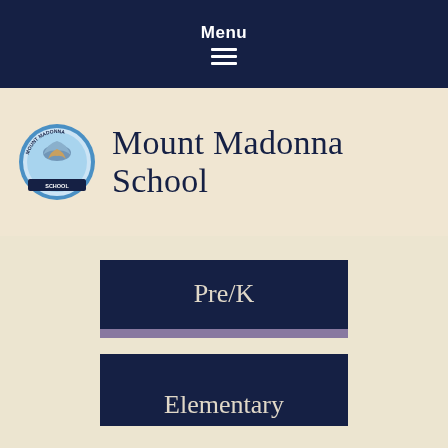Menu
Mount Madonna School
Pre/K
Elementary